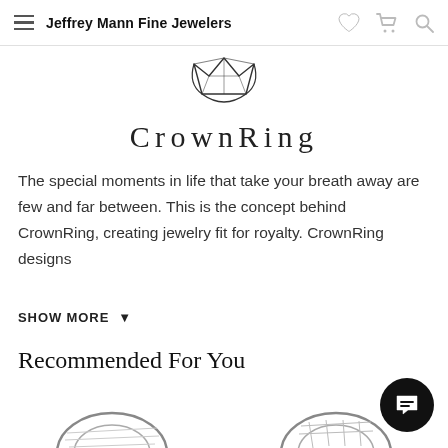Jeffrey Mann Fine Jewelers
[Figure (logo): CrownRing geometric diamond crown logo SVG illustration]
CrownRing
The special moments in life that take your breath away are few and far between. This is the concept behind CrownRing, creating jewelry fit for royalty. CrownRing designs
SHOW MORE ▾
Recommended For You
[Figure (photo): Partial view of two jewelry rings at bottom of page]